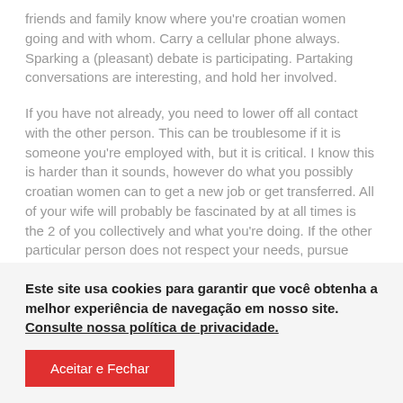friends and family know where you're croatian women going and with whom. Carry a cellular phone always. Sparking a (pleasant) debate is participating. Partaking conversations are interesting, and hold her involved.
If you have not already, you need to lower off all contact with the other person. This can be troublesome if it is someone you're employed with, but it is critical. I know this is harder than it sounds, however do what you possibly croatian women can to get a new job or get transferred. All of your wife will probably be fascinated by at all times is the 2 of you collectively and what you're doing. If the other particular person does not respect your needs, pursue
Este site usa cookies para garantir que você obtenha a melhor experiência de navegação em nosso site. Consulte nossa política de privacidade.
Aceitar e Fechar